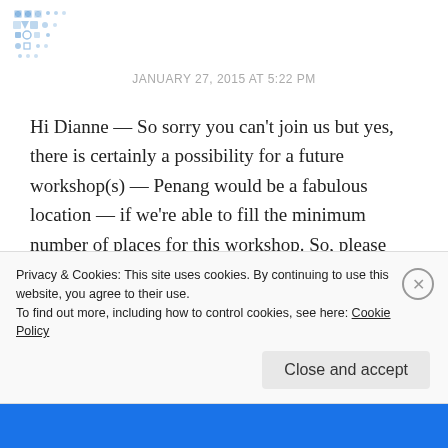[Figure (logo): Decorative blue geometric/quilt pattern logo in top left corner]
JANUARY 27, 2015 AT 5:22 PM
Hi Dianne — So sorry you can't join us but yes, there is certainly a possibility for a future workshop(s) — Penang would be a fabulous location — if we're able to fill the minimum number of places for this workshop. So, please refer any friends or colleagues who might be interested to this site!
I don't have a newsletter yet (it's on the agenda) so probably the best way at the moment to be
Privacy & Cookies: This site uses cookies. By continuing to use this website, you agree to their use.
To find out more, including how to control cookies, see here: Cookie Policy
Close and accept